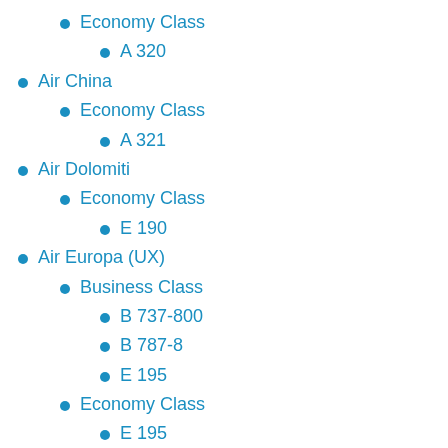Economy Class
A 320
Air China
Economy Class
A 321
Air Dolomiti
Economy Class
E 190
Air Europa (UX)
Business Class
B 737-800
B 787-8
E 195
Economy Class
E 195
Air France